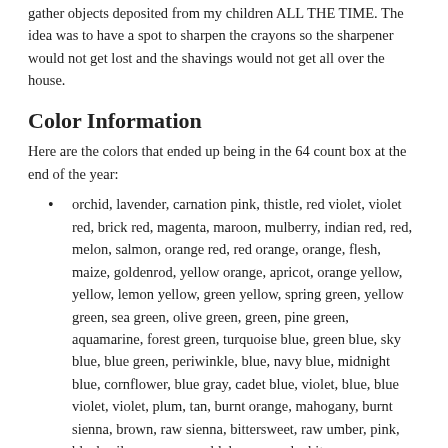gather objects deposited from my children ALL THE TIME. The idea was to have a spot to sharpen the crayons so the sharpener would not get lost and the shavings would not get all over the house.
Color Information
Here are the colors that ended up being in the 64 count box at the end of the year:
orchid, lavender, carnation pink, thistle, red violet, violet red, brick red, magenta, maroon, mulberry, indian red, red, melon, salmon, orange red, red orange, orange, flesh, maize, goldenrod, yellow orange, apricot, orange yellow, yellow, lemon yellow, green yellow, spring green, yellow green, sea green, olive green, green, pine green, aquamarine, forest green, turquoise blue, green blue, sky blue, blue green, periwinkle, blue, navy blue, midnight blue, cornflower, blue gray, cadet blue, violet, blue, blue violet, violet, plum, tan, burnt orange, mahogany, burnt sienna, brown, raw sienna, bittersweet, raw umber, pink, black, silver, copper, gold, brown, and white